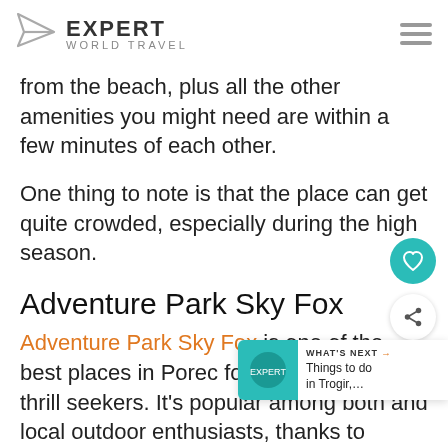EXPERT WORLD TRAVEL
from the beach, plus all the other amenities you might need are within a few minutes of each other.
One thing to note is that the place can get quite crowded, especially during the high season.
Adventure Park Sky Fox
Adventure Park Sky Fox is one of the best places in Porec for adventurers and thrill seekers. It's popular among both and local outdoor enthusiasts, thanks to